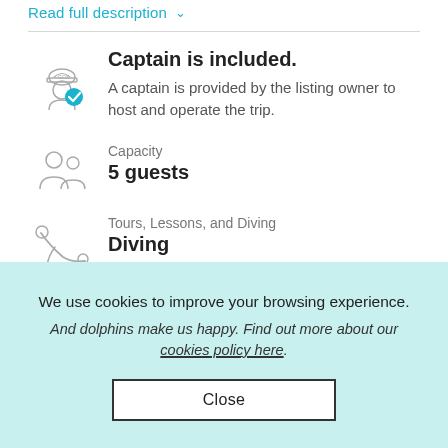Read full description
Captain is included. A captain is provided by the listing owner to host and operate the trip.
Capacity
5 guests
Tours, Lessons, and Diving
Diving
We use cookies to improve your browsing experience. And dolphins make us happy. Find out more about our cookies policy here.
Close